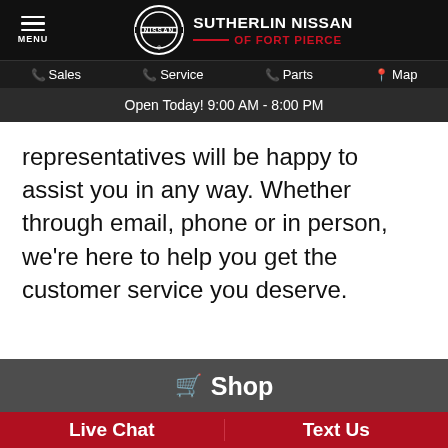SUTHERLIN NISSAN OF FORT PIERCE
Sales | Service | Parts | Map
Open Today! 9:00 AM - 8:00 PM
representatives will be happy to assist you in any way. Whether through email, phone or in person, we're here to help you get the customer service you deserve.
Shop
Live Chat
Text Us